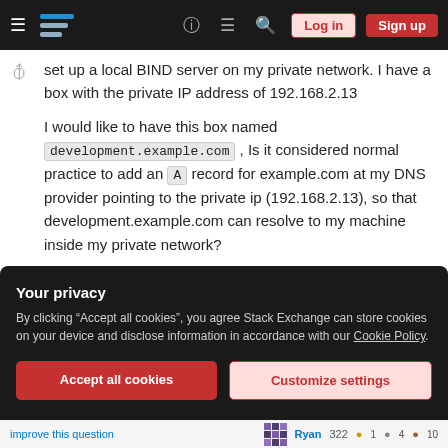Stack Exchange navigation bar with Log in and Sign up buttons
set up a local BIND server on my private network. I have a box with the private IP address of 192.168.2.13
I would like to have this box named development.example.com , Is it considered normal practice to add an A record for example.com at my DNS provider pointing to the private ip (192.168.2.13), so that development.example.com can resolve to my machine inside my private network?
Your privacy
By clicking "Accept all cookies", you agree Stack Exchange can store cookies on your device and disclose information in accordance with our Cookie Policy.
Accept all cookies   Customize settings
improve this question   Ryan   322 ● 1 ● 4 ● 10